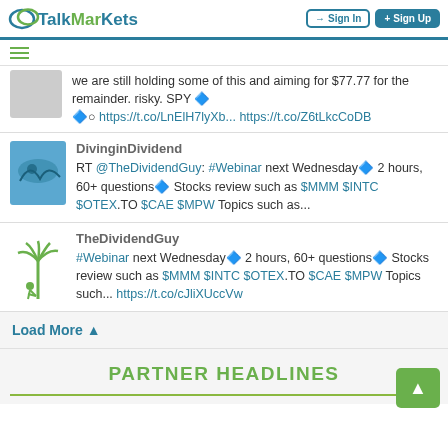TalkMarkets — Sign In | Sign Up
we are still holding some of this and aiming for $77.77 for the remainder. risky. SPY 🔷 🔷○ https://t.co/LnElH7lyXb... https://t.co/Z6tLkcCoDB
DivinginDividend
RT @TheDividendGuy: #Webinar next Wednesday🔷 2 hours, 60+ questions🔷 Stocks review such as $MMM $INTC $OTEX.TO $CAE $MPW Topics such as...
TheDividendGuy
#Webinar next Wednesday🔷 2 hours, 60+ questions🔷 Stocks review such as $MMM $INTC $OTEX.TO $CAE $MPW Topics such... https://t.co/cJliXUccVw
Load More ▲
PARTNER HEADLINES